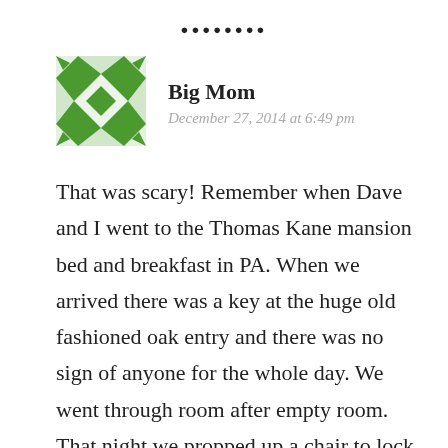[Figure (other): Row of eight black dots used as a decorative divider]
[Figure (illustration): Green and white geometric quilt-pattern avatar square]
Big Mom
December 27, 2014 at 6:49 pm
That was scary! Remember when Dave and I went to the Thomas Kane mansion bed and breakfast in PA. When we arrived there was a key at the huge old fashioned oak entry and there was no sign of anyone for the whole day. We went through room after empty room. That night we propped up a chair to lock double lock the door and tried to sleep. That was a crazy night. We